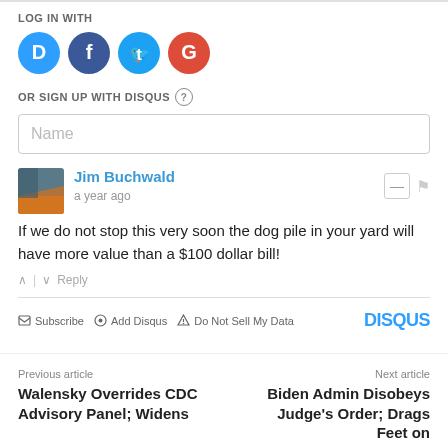LOG IN WITH
[Figure (logo): Social login buttons: Disqus (blue), Facebook (dark blue), Twitter (light blue), Google (red)]
OR SIGN UP WITH DISQUS ?
Name
Jim Buchwald · a year ago
If we do not stop this very soon the dog pile in your yard will have more value than a $100 dollar bill!
^ | v Reply
Subscribe · Add Disqus · Do Not Sell My Data · DISQUS
Previous article
Walensky Overrides CDC Advisory Panel; Widens
Next article
Biden Admin Disobeys Judge's Order; Drags Feet on